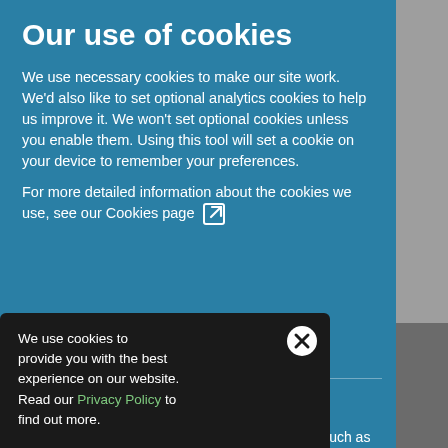Our use of cookies
We use necessary cookies to make our site work. We'd also like to set optional analytics cookies to help us improve it. We won't set optional cookies unless you enable them. Using this tool will set a cookie on your device to remember your preferences.
For more detailed information about the cookies we use, see our Cookies page ⧉
Necessary cookies
We use cookies to enable the functionality such as provide you with the best management, and accessibility. You experience on our website. Using your browser settings, Read our Privacy Policy to help website functions. find out more.
We use cookies to provide you with the best experience on our website. Read our Privacy Policy to find out more.